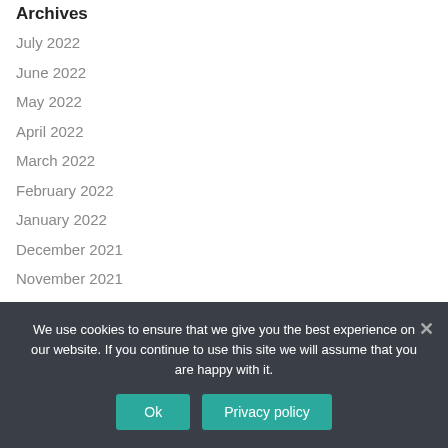Archives
July 2022
June 2022
May 2022
April 2022
March 2022
February 2022
January 2022
December 2021
November 2021
October 2021
Categories
We use cookies to ensure that we give you the best experience on our website. If you continue to use this site we will assume that you are happy with it.
Ok
Privacy policy